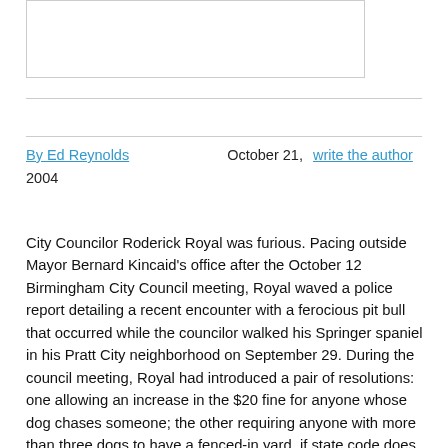[Figure (other): Empty bordered image box at top of page]
By Ed Reynolds   October 21,   write the author
2004
City Councilor Roderick Royal was furious. Pacing outside Mayor Bernard Kincaid's office after the October 12 Birmingham City Council meeting, Royal waved a police report detailing a recent encounter with a ferocious pit bull that occurred while the councilor walked his Springer spaniel in his Pratt City neighborhood on September 29. During the council meeting, Royal had introduced a pair of resolutions: one allowing an increase in the $20 fine for anyone whose dog chases someone; the other requiring anyone with more than three dogs to have a fenced-in yard, if state code does